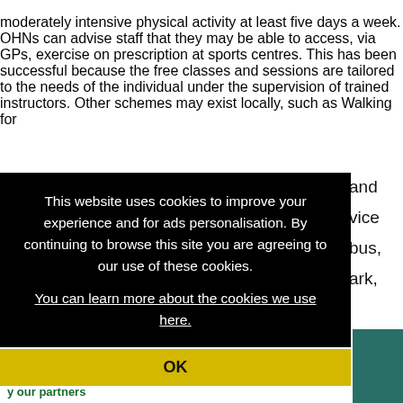moderately intensive physical activity at least five days a week. OHNs can advise staff that they may be able to access, via GPs, exercise on prescription at sports centres. This has been successful because the free classes and sessions are tailored to the needs of the individual under the supervision of trained instructors. Other schemes may exist locally, such as Walking for
and ...vice bus, ark,
[Figure (screenshot): Cookie consent overlay popup on a dark black background with white text reading: 'This website uses cookies to improve your experience and for ads personalisation. By continuing to browse this site you are agreeing to our use of these cookies. You can learn more about the cookies we use here.' with a yellow OK button at the bottom.]
[Figure (photo): Partial photo visible at bottom right, showing a person in a teal/green top, dark background, partially obscured by cookie overlay.]
y our partners